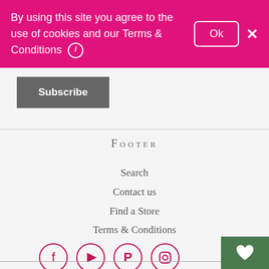By using this site you agree to the use of cookies and our Terms & Conditions ℹ Ok ✕
Subscribe
Footer
Search
Contact us
Find a Store
Terms & Conditions
[Figure (infographic): Social media icons: Facebook, YouTube, Pinterest, Instagram in circles with pink outlines]
[Figure (infographic): Green square button with white heart icon (wishlist/favorites button)]